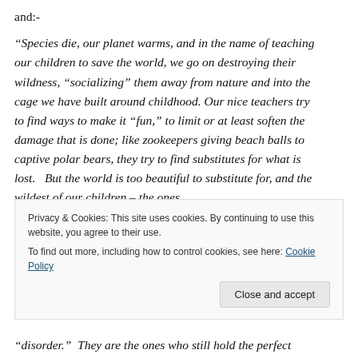and:-
“Species die, our planet warms, and in the name of teaching our children to save the world, we go on destroying their wildness, “socializing” them away from nature and into the cage we have built around childhood. Our nice teachers try to find ways to make it “fun,” to limit or at least soften the damage that is done; like zookeepers giving beach balls to captive polar bears, they try to find substitutes for what is lost.   But the world is too beautiful to substitute for, and the wildest of our children – the ones
Privacy & Cookies: This site uses cookies. By continuing to use this website, you agree to their use.
To find out more, including how to control cookies, see here: Cookie Policy
“disorder.”  They are the ones who still hold the perfect